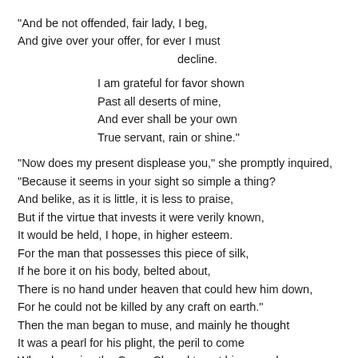"And be not offended, fair lady, I beg,
And give over your offer, for ever I must

                        decline.

            I am grateful for favor shown
            Past all deserts of mine,
            And ever shall be your own
            True servant, rain or shine."

"Now does my present displease you," she promptly inquired,
"Because it seems in your sight so simple a thing?
And belike, as it is little, it is less to praise,
But if the virtue that invests it were verily known,
It would be held, I hope, in higher esteem.
For the man that possesses this piece of silk,
If he bore it on his body, belted about,
There is no hand under heaven that could hew him down,
For he could not be killed by any craft on earth."
Then the man began to muse, and mainly he thought
It was a pearl for his plight, the peril to come
When he gains the Green Chapel to get his reward;